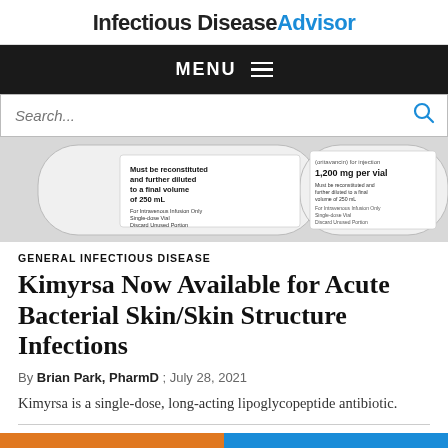Infectious Disease Advisor
MENU
Search...
[Figure (photo): Two pharmaceutical vials labeled with drug information including '1,200 mg per vial', instructions 'Must be reconstituted and further diluted to a final volume of 250 mL', 'For Intravenous Infusion Only', 'Single-dose Vial', 'Discard Unused Portion']
GENERAL INFECTIOUS DISEASE
Kimyrsa Now Available for Acute Bacterial Skin/Skin Structure Infections
By Brian Park, PharmD ; July 28, 2021
Kimyrsa is a single-dose, long-acting lipoglycopeptide antibiotic.